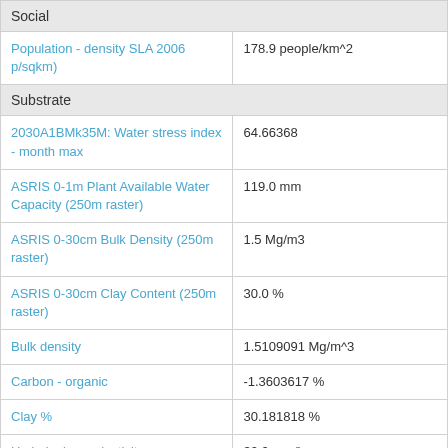| Property | Value |
| --- | --- |
| Social |  |
| Population - density SLA 2006 p/sqkm) | 178.9 people/km^2 |
| Substrate |  |
| 2030A1BMk35M: Water stress index - month max | 64.66368 |
| ASRIS 0-1m Plant Available Water Capacity (250m raster) | 119.0 mm |
| ASRIS 0-30cm Bulk Density (250m raster) | 1.5 Mg/m3 |
| ASRIS 0-30cm Clay Content (250m raster) | 30.0 % |
| Bulk density | 1.5109091 Mg/m^3 |
| Carbon - organic | -1.3603617 % |
| Clay % | 30.181818 % |
| Hydrologic conductivity - average saturated | 30.0 mm/h |